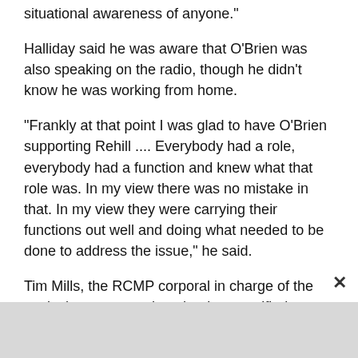situational awareness of anyone."
Halliday said he was aware that O'Brien was also speaking on the radio, though he didn't know he was working from home.
"Frankly at that point I was glad to have O'Brien supporting Rehill .... Everybody had a role, everybody had a function and knew what that role was. In my view there was no mistake in that. In my view they were carrying their functions out well and doing what needed to be done to address the issue," he said.
Tim Mills, the RCMP corporal in charge of the tactical response unit at the time, testified Monday that he and his 12-member team received limited direction as they attempted to find the killer on the second day.